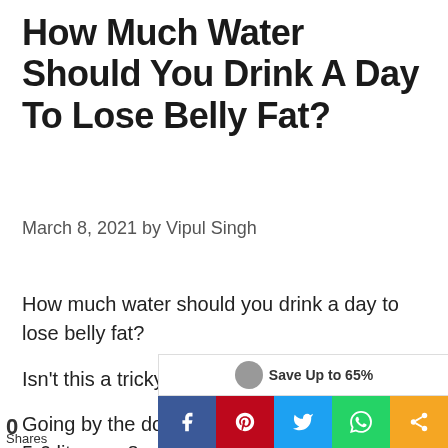How Much Water Should You Drink A Day To Lose Belly Fat?
March 8, 2021 by Vipul Singh
How much water should you drink a day to lose belly fat?
Isn't this a tricky question..?
Going by the doctor's advice, drinking at least 5-6 litres or 8-ounce glasses of water per day is good for a healthy body and staying hydrated.